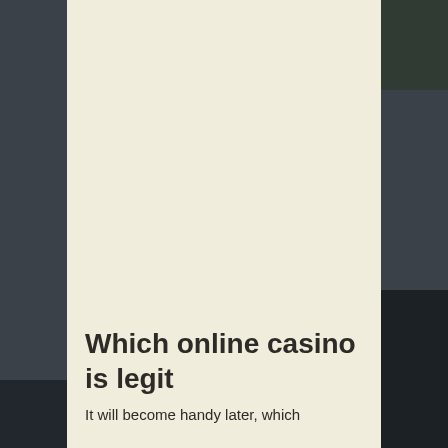[Figure (photo): Background photo showing dark-toned objects including a bag on the left and a teapot/dark object on the right with foliage visible in top-right corner. A cream/off-white center panel overlays the middle of the image.]
Which online casino is legit
It will become handy later, which